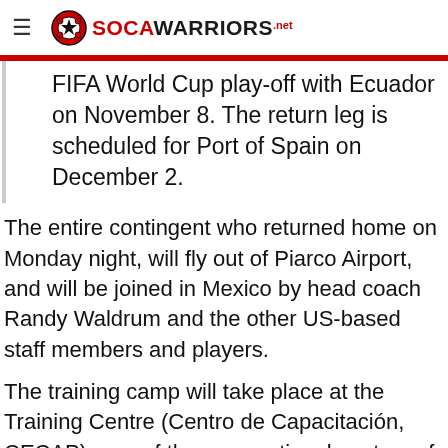≡ SOCAWARRIORS.net
FIFA World Cup play-off with Ecuador on November 8. The return leg is scheduled for Port of Spain on December 2.
The entire contingent who returned home on Monday night, will fly out of Piarco Airport, and will be joined in Mexico by head coach Randy Waldrum and the other US-based staff members and players.
The training camp will take place at the Training Centre (Centro de Capacitación, CECAP), one of three operational centres of the Mexican Football Association. The T&T squad are scheduled to arrive in Ecuador on November 5.